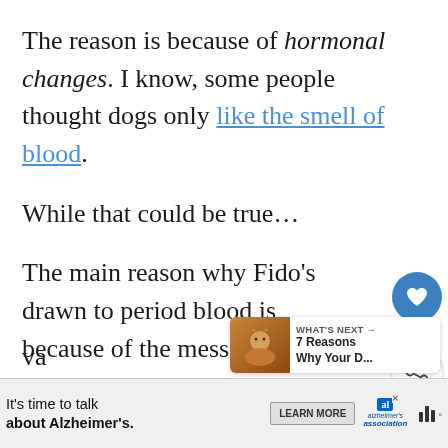The reason is because of hormonal changes. I know, some people thought dogs only like the smell of blood.
While that could be true…
The main reason why Fido's drawn to period blood is because of the message they get.
And not because they're some type of a va
[Figure (screenshot): Social media sidebar with heart/like icon (blue circle), share count of 1, and share icon. Also a 'What's Next' widget showing a dog photo thumbnail and text '7 Reasons Why Your D...']
[Figure (other): Advertisement bar: 'It's time to talk about Alzheimer's.' with a Learn More button, Alzheimer's Association logo, and a music/streaming app logo.]